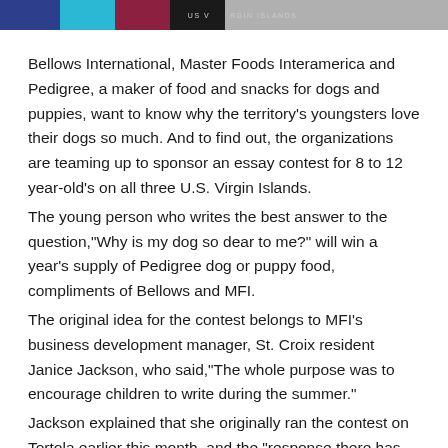US VIRGIN ISLANDS
Bellows International, Master Foods Interamerica and Pedigree, a maker of food and snacks for dogs and puppies, want to know why the territory's youngsters love their dogs so much. And to find out, the organizations are teaming up to sponsor an essay contest for 8 to 12 year-old's on all three U.S. Virgin Islands.
The young person who writes the best answer to the question,"Why is my dog so dear to me?" will win a year's supply of Pedigree dog or puppy food, compliments of Bellows and MFI.
The original idea for the contest belongs to MFI's business development manager, St. Croix resident Janice Jackson, who said,"The whole purpose was to encourage children to write during the summer."
Jackson explained that she originally ran the contest on Tortola earlier this month, and the "response there has been